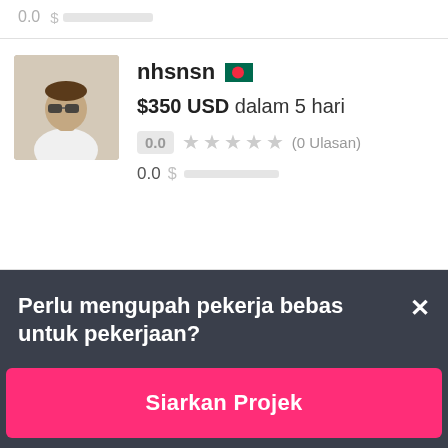0.0 $ ██████████
[Figure (photo): Profile photo of user nhsnsn, showing a man with sunglasses in a white shirt]
nhsnsn 🇧🇩
$350 USD dalam 5 hari
0.0 ★★★★★ (0 Ulasan)
0.0 $ ██████████
Perlu mengupah pekerja bebas untuk pekerjaan?
Siarkan Projek